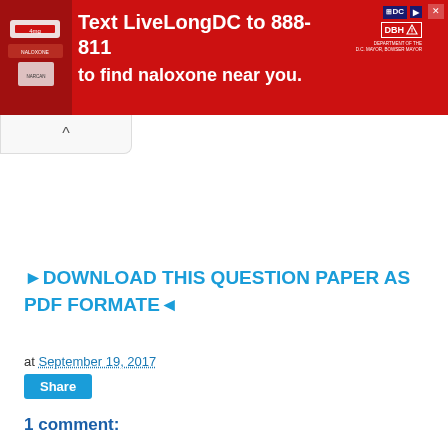[Figure (photo): Red banner advertisement: 'Text LiveLongDC to 888-811 to find naloxone near you.' with DC and DBH logos and a photo of naloxone packaging on the left.]
►DOWNLOAD THIS QUESTION PAPER AS PDF FORMATE◄
at September 19, 2017
Share
1 comment: